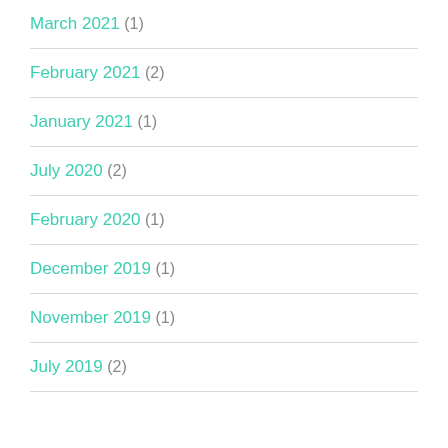March 2021 (1)
February 2021 (2)
January 2021 (1)
July 2020 (2)
February 2020 (1)
December 2019 (1)
November 2019 (1)
July 2019 (2)